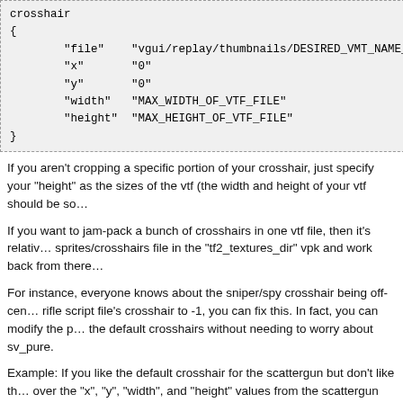crosshair
{
    "file"    "vgui/replay/thumbnails/DESIRED_VMT_NAME_HERE"
    "x"       "0"
    "y"       "0"
    "width"   "MAX_WIDTH_OF_VTF_FILE"
    "height"  "MAX_HEIGHT_OF_VTF_FILE"
}
If you aren't cropping a specific portion of your crosshair, just specify your "height" as the sizes of the vtf (the width and height of your vtf should be so...
If you want to jam-pack a bunch of crosshairs in one vtf file, then it's relativ... sprites/crosshairs file in the "tf2_textures_dir" vpk and work back from there...
For instance, everyone knows about the sniper/spy crosshair being off-cen... rifle script file's crosshair to -1, you can fix this. In fact, you can modify the p... the default crosshairs without needing to worry about sv_pure.
Example: If you like the default crosshair for the scattergun but don't like th... over the "x", "y", "width", and "height" values from the scattergun script to th... sprites/crosshairs file.
The "x" and "y" specify the location on the vtf file to begin cropping from. Th... boundaries from that location.
Step 3. Load the game, set your crosshair type to "none", and enjoy your c... recolor it in game without preloading or editing resource files & calling hud_...
The biggest benefit overall from doing this over using a typical HUD...